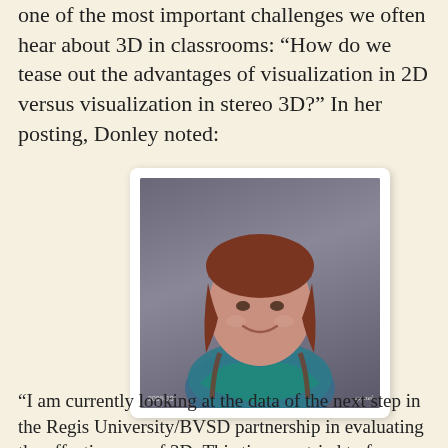one of the most important challenges we often hear about 3D in classrooms: “How do we tease out the advantages of visualization in 2D versus visualization in stereo 3D?” In her posting, Donley noted:
[Figure (photo): Portrait photo of a woman with reddish-brown hair, smiling, wearing a blue-green patterned top. Dark gray background. Date '2009-10' in bottom left corner.]
“I am currently looking at the data of the next step in the Regis University/BVSD partnership in evaluating the effectiveness of 3D. This time we tried to focus on